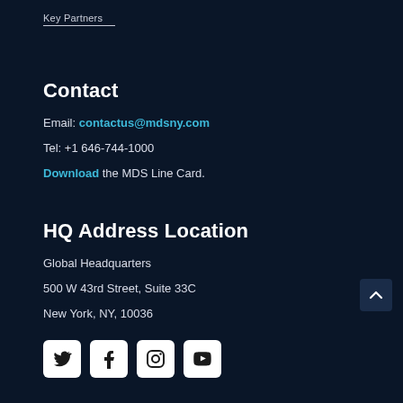Key Partners
Contact
Email: contactus@mdsny.com
Tel: +1 646-744-1000
Download the MDS Line Card.
HQ Address Location
Global Headquarters
500 W 43rd Street, Suite 33C
New York, NY, 10036
[Figure (infographic): Four social media icons in white rounded square buttons: Twitter, Facebook, Instagram, YouTube]